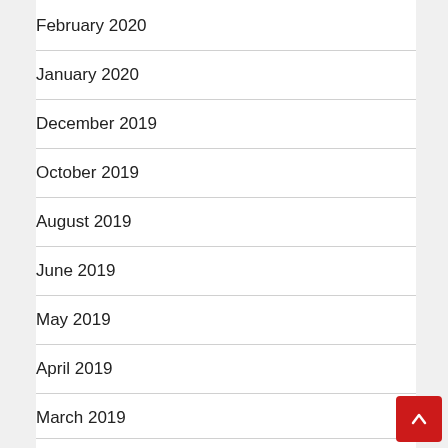February 2020
January 2020
December 2019
October 2019
August 2019
June 2019
May 2019
April 2019
March 2019